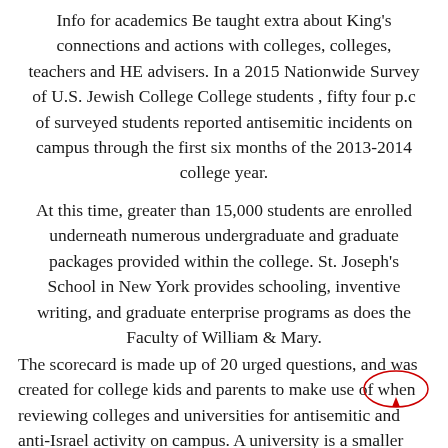Info for academics Be taught extra about King's connections and actions with colleges, colleges, teachers and HE advisers. In a 2015 Nationwide Survey of U.S. Jewish College College students , fifty four p.c of surveyed students reported antisemitic incidents on campus through the first six months of the 2013-2014 college year.
At this time, greater than 15,000 students are enrolled underneath numerous undergraduate and graduate packages provided within the college. St. Joseph's School in New York provides schooling, inventive writing, and graduate enterprise programs as does the Faculty of William & Mary.
The scorecard is made up of 20 urged questions, and was created for college kids and parents to make use of when reviewing colleges and universities for antisemitic and anti-Israel activity on campus. A university is a smaller